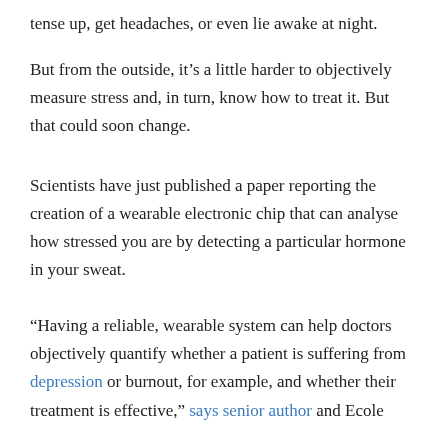tense up, get headaches, or even lie awake at night.
But from the outside, it’s a little harder to objectively measure stress and, in turn, know how to treat it. But that could soon change.
Scientists have just published a paper reporting the creation of a wearable electronic chip that can analyse how stressed you are by detecting a particular hormone in your sweat.
“Having a reliable, wearable system can help doctors objectively quantify whether a patient is suffering from depression or burnout, for example, and whether their treatment is effective,” says senior author and Ecole